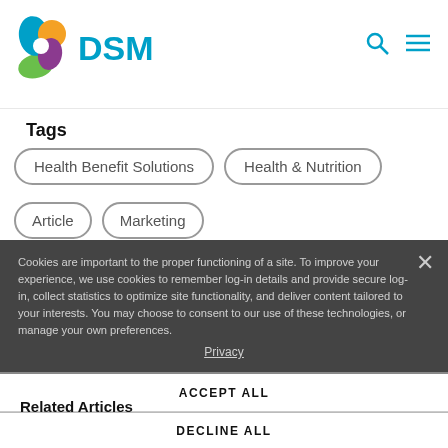DSM logo and navigation
Tags
Health Benefit Solutions
Health & Nutrition
Article
Marketing
Cookies are important to the proper functioning of a site. To improve your experience, we use cookies to remember log-in details and provide secure log-in, collect statistics to optimize site functionality, and deliver content tailored to your interests. You may choose to consent to our use of these technologies, or manage your own preferences.
Privacy
Related Articles
ACCEPT ALL
DECLINE ALL
MANAGE SETTINGS